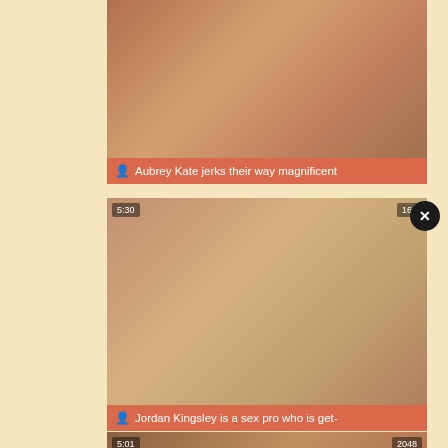[Figure (photo): Video thumbnail 1 - woman in black lingerie with tattoos]
Aubrey Kate jerks their way magnificent
[Figure (photo): Video thumbnail 2 - blonde woman, duration 5:30, views 161]
Jordan Kingsley is a sex pro who is get-
[Figure (photo): Video thumbnail 3 - duration 5:01, views 2048]